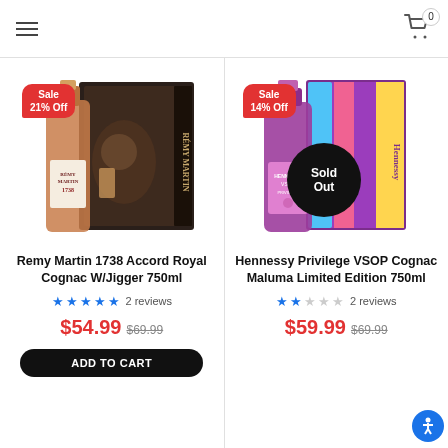Navigation bar with hamburger menu and cart (0 items)
[Figure (photo): Remy Martin 1738 Accord Royal Cognac W/Jigger 750ml product photo with Sale 21% Off badge]
Remy Martin 1738 Accord Royal Cognac W/Jigger 750ml
★★★★★ 2 reviews
$54.99 $69.99
ADD TO CART
[Figure (photo): Hennessy Privilege VSOP Cognac Maluma Limited Edition 750ml product photo with Sale 14% Off badge and Sold Out overlay]
Hennessy Privilege VSOP Cognac Maluma Limited Edition 750ml
★★☆☆☆ 2 reviews
$59.99 $69.99